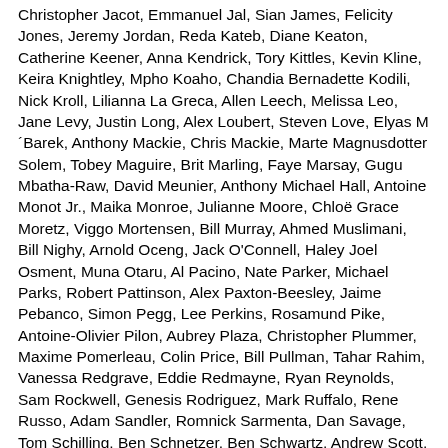Christopher Jacot, Emmanuel Jal, Sian James, Felicity Jones, Jeremy Jordan, Reda Kateb, Diane Keaton, Catherine Keener, Anna Kendrick, Tory Kittles, Kevin Kline, Keira Knightley, Mpho Koaho, Chandia Bernadette Kodili, Nick Kroll, Lilianna La Greca, Allen Leech, Melissa Leo, Jane Levy, Justin Long, Alex Loubert, Steven Love, Elyas M´Barek, Anthony Mackie, Chris Mackie, Marte Magnusdotter Solem, Tobey Maguire, Brit Marling, Faye Marsay, Gugu Mbatha-Raw, David Meunier, Anthony Michael Hall, Antoine Monot Jr., Maika Monroe, Julianne Moore, Chloë Grace Moretz, Viggo Mortensen, Bill Murray, Ahmed Muslimani, Bill Nighy, Arnold Oceng, Jack O'Connell, Haley Joel Osment, Muna Otaru, Al Pacino, Nate Parker, Michael Parks, Robert Pattinson, Alex Paxton-Beesley, Jaime Pebanco, Simon Pegg, Lee Perkins, Rosamund Pike, Antoine-Olivier Pilon, Aubrey Plaza, Christopher Plummer, Maxime Pomerleau, Colin Price, Bill Pullman, Tahar Rahim, Vanessa Redgrave, Eddie Redmayne, Ryan Reynolds, Sam Rockwell, Genesis Rodriguez, Mark Ruffalo, Rene Russo, Adam Sandler, Romnick Sarmenta, Dan Savage, Tom Schilling, Ben Schnetzer, Ben Schwartz, Andrew Scott, Alexey Serebryakov, Amanda Seyfried, Michael Shannon, Dax